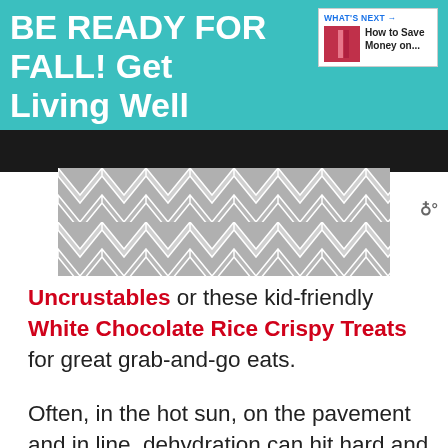BE READY FOR FALL! Get Living Well Planner® now
[Figure (screenshot): What's Next sidebar box with pink image thumbnail and text 'How to Save Money on...']
[Figure (photo): Blurred/redacted image with gray chevron pattern overlay, possibly food-related]
Uncrustables or these kid-friendly White Chocolate Rice Crispy Treats for great grab-and-go eats.
Often, in the hot sun, on the pavement and in line, dehydration can hit hard and fast (making those pineapple whips irresistible). There are plenty of bathrooms and drinking fountains, so refilling a water bottle can really help. Keeping your parched family well-